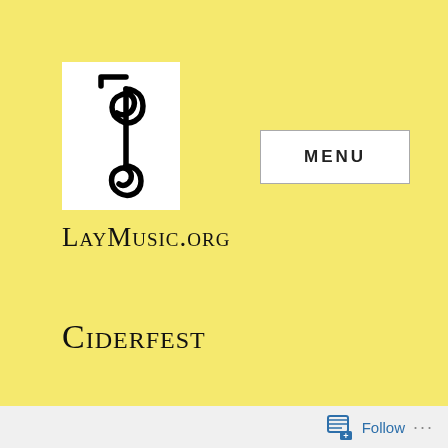[Figure (logo): LayMusic.org logo: white box with stylized treble clef / snake-like musical symbol in black]
MENU
LayMusic.org
Ciderfest
Pretty busy today, since I spent all of yesterday getting ready for and going to the Boston Wort
Follow ...